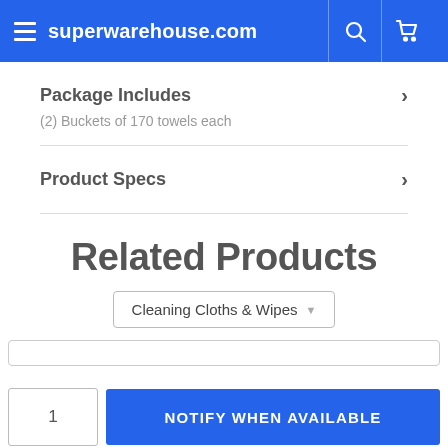superwarehouse.com
Package Includes
(2) Buckets of 170 towels each
Product Specs
Related Products
Cleaning Cloths & Wipes
1
NOTIFY WHEN AVAILABLE